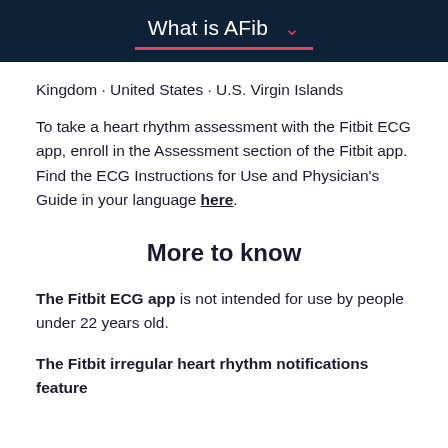What is AFib
Kingdom · United States · U.S. Virgin Islands
To take a heart rhythm assessment with the Fitbit ECG app, enroll in the Assessment section of the Fitbit app. Find the ECG Instructions for Use and Physician's Guide in your language here.
More to know
The Fitbit ECG app is not intended for use by people under 22 years old.
The Fitbit irregular heart rhythm notifications feature